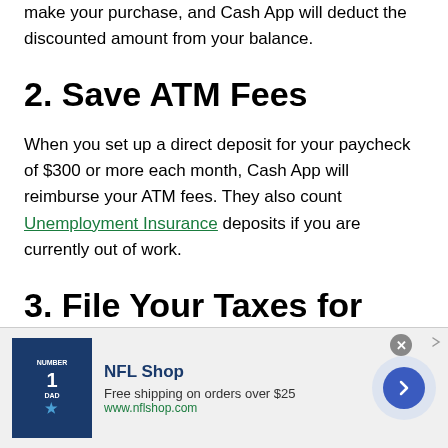make your purchase, and Cash App will deduct the discounted amount from your balance.
2. Save ATM Fees
When you set up a direct deposit for your paycheck of $300 or more each month, Cash App will reimburse your ATM fees. They also count Unemployment Insurance deposits if you are currently out of work.
3. File Your Taxes for Free
In 2020, Square, Inc. acquired Credit Karma Tax and renamed
[Figure (infographic): NFL Shop advertisement banner with jersey image, NFL Shop title, free shipping offer text, www.nflshop.com URL, close button, and forward arrow button]